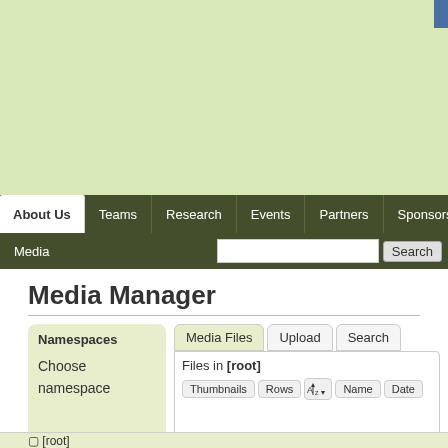[Figure (screenshot): Green header area of website]
About Us | Teams | Research | Events | Partners | Sponsors | Media
Files in [root]
Media Manager
Namespaces
Choose namespace
Media Files | Upload | Search
Files in [root]  Thumbnails  Rows  Name  Date